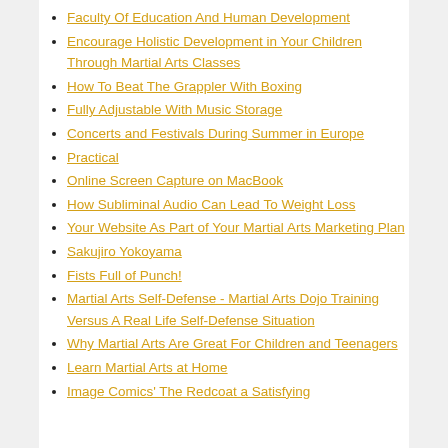Faculty Of Education And Human Development
Encourage Holistic Development in Your Children Through Martial Arts Classes
How To Beat The Grappler With Boxing
Fully Adjustable With Music Storage
Concerts and Festivals During Summer in Europe
Practical
Online Screen Capture on MacBook
How Subliminal Audio Can Lead To Weight Loss
Your Website As Part of Your Martial Arts Marketing Plan
Sakujiro Yokoyama
Fists Full of Punch!
Martial Arts Self-Defense - Martial Arts Dojo Training Versus A Real Life Self-Defense Situation
Why Martial Arts Are Great For Children and Teenagers
Learn Martial Arts at Home
Image Comics' The Redcoat a Satisfying